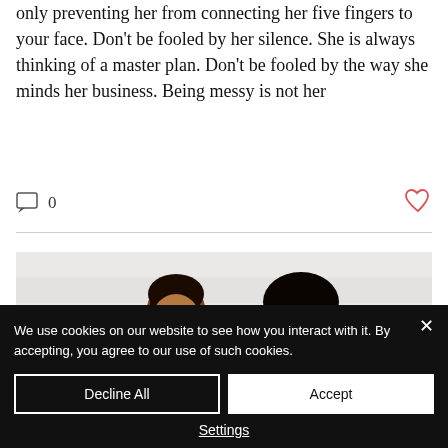only preventing her from connecting her five fingers to your face. Don't be fooled by her silence. She is always thinking of a master plan. Don't be fooled by the way she minds her business. Being messy is not her
[Figure (photo): Two women laughing together lying against a white paneled wall background]
We use cookies on our website to see how you interact with it. By accepting, you agree to our use of such cookies.